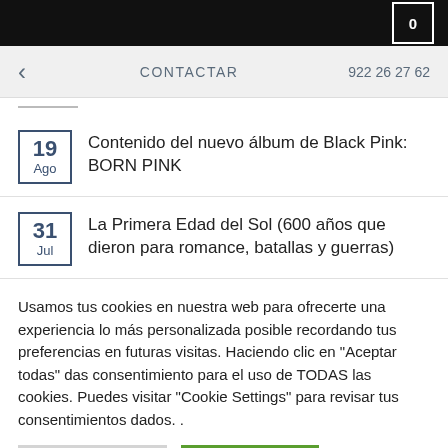0
< CONTACTAR 922 26 27 62
19 Ago — Contenido del nuevo álbum de Black Pink: BORN PINK
31 Jul — La Primera Edad del Sol (600 años que dieron para romance, batallas y guerras)
Usamos tus cookies en nuestra web para ofrecerte una experiencia lo más personalizada posible recordando tus preferencias en futuras visitas. Haciendo clic en "Aceptar todas" das consentimiento para el uso de TODAS las cookies. Puedes visitar "Cookie Settings" para revisar tus consentimientos dados. .
Ajustes de cookies | Aceptar todas